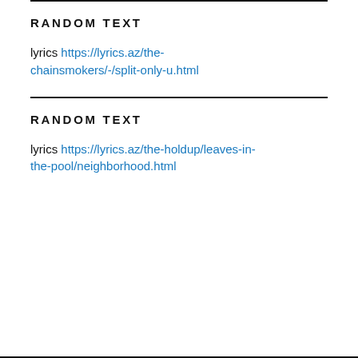RANDOM TEXT
lyrics https://lyrics.az/the-chainsmokers/-/split-only-u.html
RANDOM TEXT
lyrics https://lyrics.az/the-holdup/leaves-in-the-pool/neighborhood.html